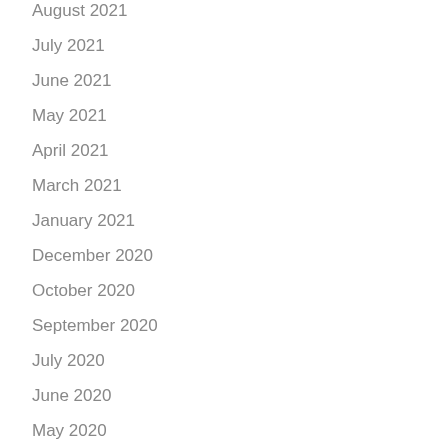August 2021
July 2021
June 2021
May 2021
April 2021
March 2021
January 2021
December 2020
October 2020
September 2020
July 2020
June 2020
May 2020